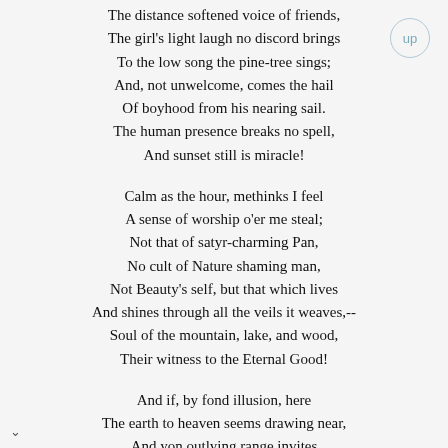The distance softened voice of friends,
The girl's light laugh no discord brings
To the low song the pine-tree sings;
And, not unwelcome, comes the hail
Of boyhood from his nearing sail.
The human presence breaks no spell,
And sunset still is miracle!

Calm as the hour, methinks I feel
A sense of worship o'er me steal;
Not that of satyr-charming Pan,
No cult of Nature shaming man,
Not Beauty's self, but that which lives
And shines through all the veils it weaves,--
Soul of the mountain, lake, and wood,
Their witness to the Eternal Good!

And if, by fond illusion, here
The earth to heaven seems drawing near,
And yon outlying range invites